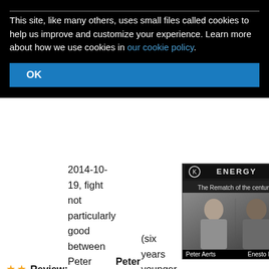This site, like many others, uses small files called cookies to help us improve and customize your experience. Learn more about how we use cookies in our cookie policy.
OK
Review: 2014-10-19, fight not particularly good between Peter Aerts and Ernesto Hoost: it gets two stars. The 43-year-old Peter Aerts (six years younger than Hoost) entered this fight with a professional kickboxing record of 105-33-2 (79 KOs=75%) and he is ranked as the No.9 heavyweight in the world while his opponent, Ernesto Hoost, has an official record of 98-21-1 (62 knockouts). They are two legends of kickboxing and K-1 world GP since Aerts won the heavyweight tournament three times while Hoost four. They have already faced each other five
[Figure (photo): Promotional photo for 'The Rematch of the Century' fight event showing Peter Aerts and Ernesto Hoost face to face with Energy branding. Caption reads 'Peter Aerts' and 'Enesto Hoost'.]